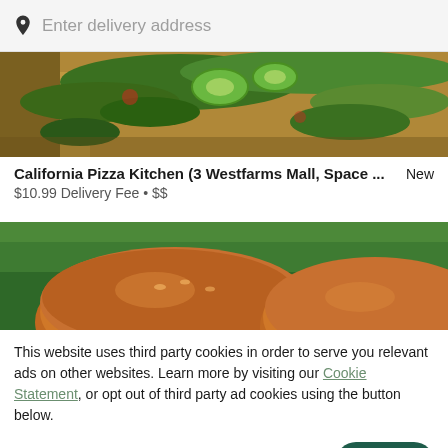Enter delivery address
[Figure (photo): Close-up photo of a California Pizza Kitchen pizza topped with avocado slices, greens, and herbs on a golden-brown crust]
California Pizza Kitchen (3 Westfarms Mall, Space ... New
$10.99 Delivery Fee • $$
[Figure (photo): Close-up photo of burger buns on a green background]
This website uses third party cookies in order to serve you relevant ads on other websites. Learn more by visiting our Cookie Statement, or opt out of third party ad cookies using the button below.
OPT OUT  GOT IT